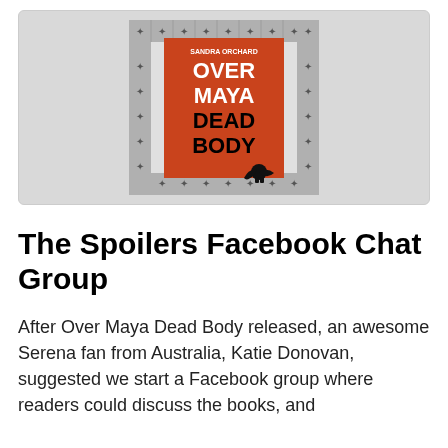[Figure (illustration): Book cover of 'Over Maya Dead Body' by Sandra Orchard. Orange cover with large bold black and white text, decorative black-and-white tile border pattern, silhouette of a person in a detective pose at the bottom right.]
The Spoilers Facebook Chat Group
After Over Maya Dead Body released, an awesome Serena fan from Australia, Katie Donovan, suggested we start a Facebook group where readers could discuss the books, and